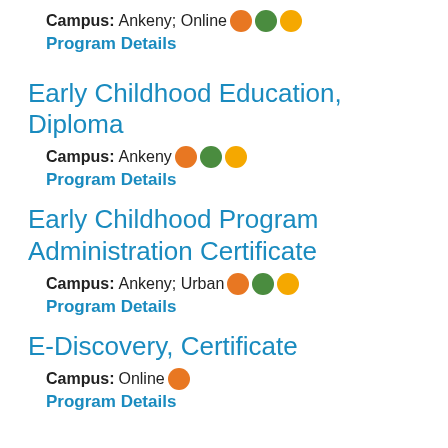Campus: Ankeny; Online
Program Details
Early Childhood Education, Diploma
Campus: Ankeny
Program Details
Early Childhood Program Administration Certificate
Campus: Ankeny; Urban
Program Details
E-Discovery, Certificate
Campus: Online
Program Details